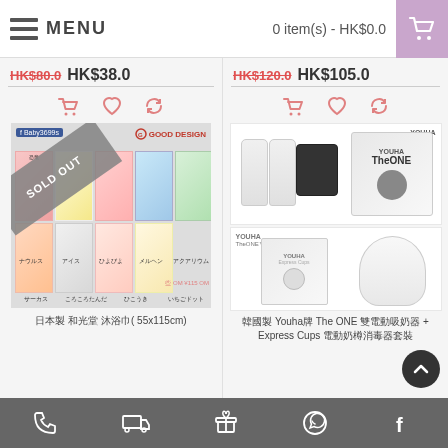MENU | 0 item(s) - HK$0.0
HK$80.0 HK$38.0
HK$120.0 HK$105.0
[Figure (photo): Japanese fabric swaddling cloths with various patterns (サーカス, ころころたんだ, ひこうき, いちごドット etc.) with 'SOLD OUT' banner and 'GOOD DESIGN' logo]
[Figure (photo): Youha The ONE double breast pump product photos showing pump device and Express Cups accessories]
日本製 和光堂 沐浴巾( 55x115cm)
韓國製 Youha牌 The ONE 雙電動吸奶器 + Express Cups 電動奶樽消毒器套裝
Phone | Delivery | Gift | WhatsApp | Facebook